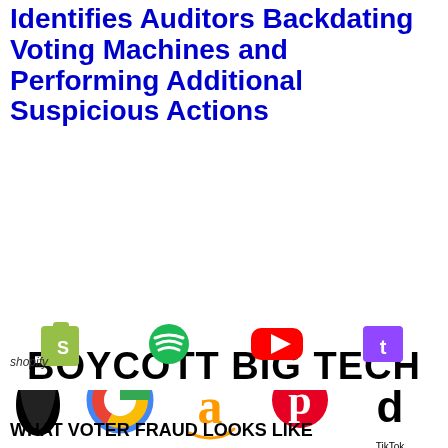Identifies Auditors Backdating Voting Machines and Performing Additional Suspicious Actions
[Figure (infographic): Boycott Big Tech graphic with logos of Apple, Google, Amazon, Pinterest, TikTok, Twitter, Facebook, Instagram, Snapchat, Reddit, Shopify, Spotify, YouTube, Twitch and call-to-action text.]
WHAT VOTER FRAUD LOOKS LIKE